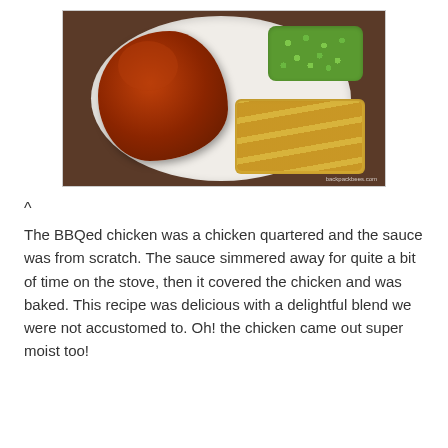[Figure (photo): A white plate with BBQ chicken quarters covered in reddish-brown sauce, a serving of green peas, and golden sautéed potato slices. Photo credit: backpackbees.com]
^
The BBQed chicken was a chicken quartered and the sauce was from scratch. The sauce simmered away for quite a bit of time on the stove, then it covered the chicken and was baked. This recipe was delicious with a delightful blend we were not accustomed to. Oh! the chicken came out super moist too!